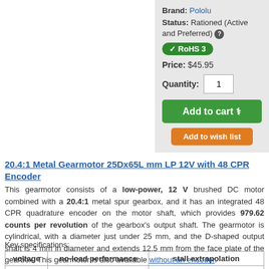Brand: Pololu
Status: Rationed (Active and Preferred) ℹ
✓ RoHS 3
Price: $45.95
Quantity: 1
Add to cart 🛒
Add to wish list
20.4:1 Metal Gearmotor 25Dx65L mm LP 12V with 48 CPR Encoder
This gearmotor consists of a low-power, 12 V brushed DC motor combined with a 20.4:1 metal spur gearbox, and it has an integrated 48 CPR quadrature encoder on the motor shaft, which provides 979.62 counts per revolution of the gearbox's output shaft. The gearmotor is cylindrical, with a diameter just under 25 mm, and the D-shaped output shaft is 4 mm in diameter and extends 12.5 mm from the face plate of the gearbox. This gearmotor is also available without an encoder.
Key specifications:
| voltage | no-load performance | stall extrapolation |
| --- | --- | --- |
| 12 V | 280 RPM, 60 mA | 2.4 kg·cm (33 oz·in), 0.9 A |